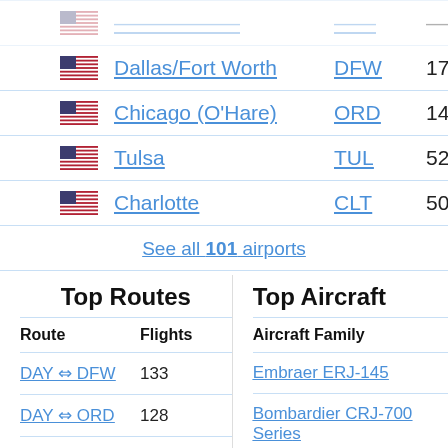Dallas/Fort Worth DFW 171
Chicago (O'Hare) ORD 148
Tulsa TUL 52
Charlotte CLT 50
See all 101 airports
Top Routes
Top Aircraft
| Route | Flights |
| --- | --- |
| DAY ⇔ DFW | 133 |
| DAY ⇔ ORD | 128 |
| Aircraft Family |
| --- |
| Embraer ERJ-145 |
| Bombardier CRJ-700 Series |